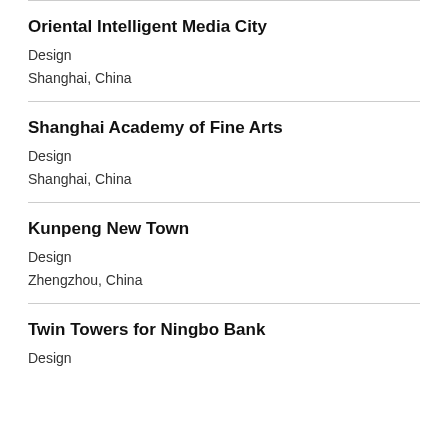Oriental Intelligent Media City
Design
Shanghai, China
Shanghai Academy of Fine Arts
Design
Shanghai, China
Kunpeng New Town
Design
Zhengzhou, China
Twin Towers for Ningbo Bank
Design